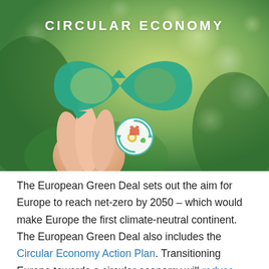[Figure (photo): Photograph of a hand holding a green paper infinity/recycling loop symbol against a blurred green bokeh background, with the text CIRCULAR ECONOMY overlaid in white bold capitals, and a small circular economy icon (gear, t-shirt, leaf) in the lower center of the image.]
The European Green Deal sets out the aim for Europe to reach net-zero by 2050 – which would make Europe the first climate-neutral continent. The European Green Deal also includes the Circular Economy Action Plan. Transitioning Europe towards a circular economy will reduce pressure on